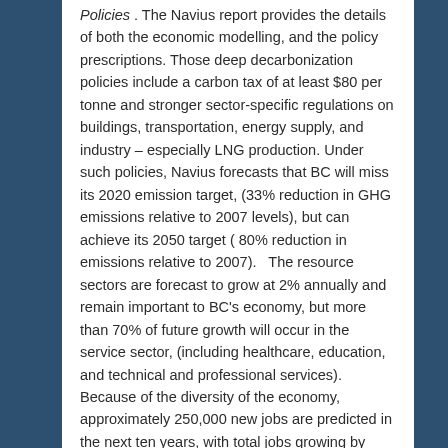Policies . The Navius report provides the details of both the economic modelling, and the policy prescriptions. Those deep decarbonization policies include a carbon tax of at least $80 per tonne and stronger sector-specific regulations on buildings, transportation, energy supply, and industry – especially LNG production. Under such policies, Navius forecasts that BC will miss its 2020 emission target, (33% reduction in GHG emissions relative to 2007 levels), but can achieve its 2050 target ( 80% reduction in emissions relative to 2007).   The resource sectors are forecast to grow at 2% annually and remain important to BC's economy, but more than 70% of future growth will occur in the service sector, (including healthcare, education, and technical and professional services). Because of the diversity of the economy, approximately 250,000 new jobs are predicted in the next ten years, with total jobs growing by 900,000 between 2015 and 2050.
Posted in Environmental Policy, Government Policy | Tagged B.C. Carbon Tax, British Columbia, Climate change policy, employment impacts, Ghg emissions reduction